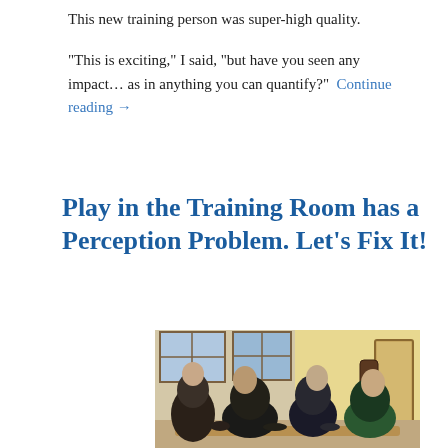This new training person was super-high quality.
“This is exciting,” I said, “but have you seen any impact… as in anything you can quantify?”  Continue reading →
Play in the Training Room has a Perception Problem. Let’s Fix It!
[Figure (photo): Group of people sitting around a low table engaged in an activity, in a room with large windows and warm-toned walls.]